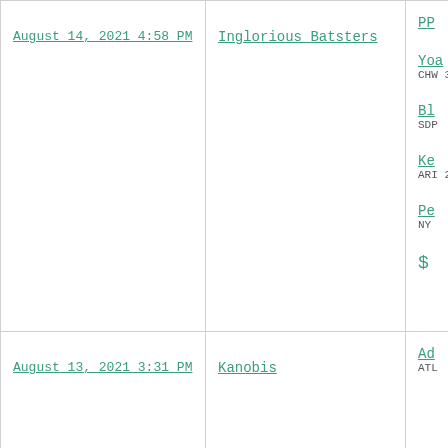| Date | Team | Details |
| --- | --- | --- |
| August 14, 2021 4:58 PM | Inglorious Batsters | Yoa... CHW 3B | Bl... SDP | Ke... ARI 2 | Pe... NY | $... |
| August 13, 2021 3:31 PM | Kanobis | Ad... ATL |
|  |  | B... WSN | Bus... S... |